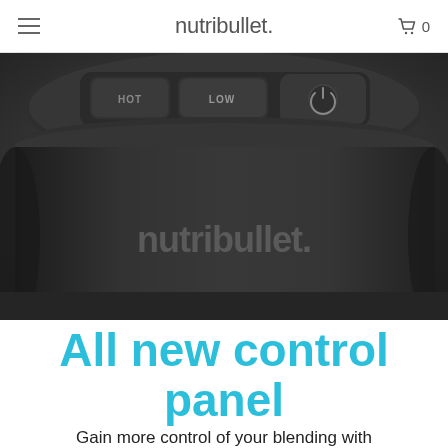nutribullet.
[Figure (photo): Close-up photograph of a dark grey NutriBullet blender showing the control panel with buttons labeled LOW and a power button, with nutribullet logo on the body of the appliance.]
All new control panel
Gain more control of your blending with